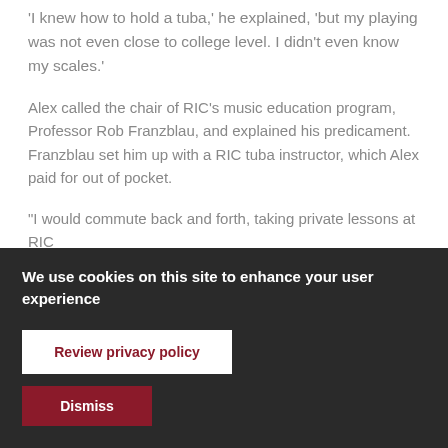"I knew how to hold a tuba," he explained, "but my playing was not even close to college level. I didn't even know my scales."
Alex called the chair of RIC's music education program, Professor Rob Franzblau, and explained his predicament. Franzblau set him up with a RIC tuba instructor, which Alex paid for out of pocket.
"I would commute back and forth, taking private lessons at RIC
We use cookies on this site to enhance your user experience
Review privacy policy
Dismiss